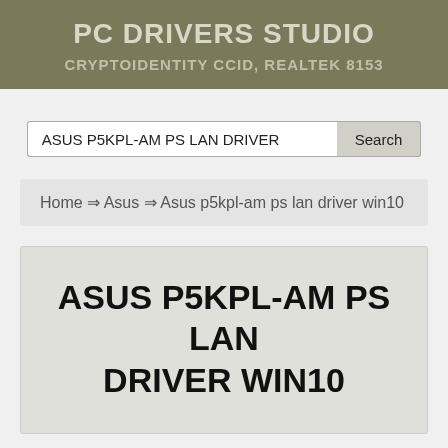PC DRIVERS STUDIO
CRYPTOIDENTITY CCID, REALTEK 8153
ASUS P5KPL-AM PS LAN DRIVER
Home ⇒ Asus ⇒ Asus p5kpl-am ps lan driver win10
ASUS P5KPL-AM PS LAN DRIVER WIN10
Keith Mortimer ⇒ Posted in: Asus